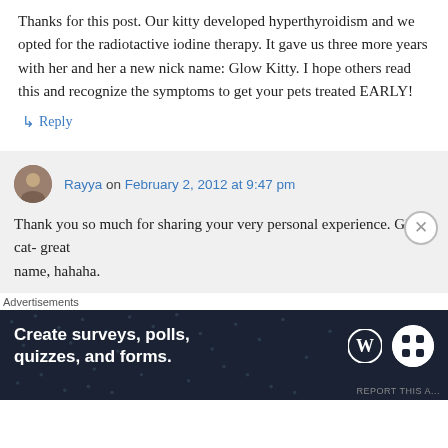Thanks for this post. Our kitty developed hyperthyroidism and we opted for the radiotactive iodine therapy. It gave us three more years with her and her a new nick name: Glow Kitty. I hope others read this and recognize the symptoms to get your pets treated EARLY!
↳ Reply
Rayya on February 2, 2012 at 9:47 pm
Thank you so much for sharing your very personal experience. Glow cat- great name, hahaha.
Advertisements
[Figure (infographic): Advertisement banner for WordPress survey/forms tool: 'Create surveys, polls, quizzes, and forms.' with WordPress and SurveyMonkey logos on dark blue background with dot pattern.]